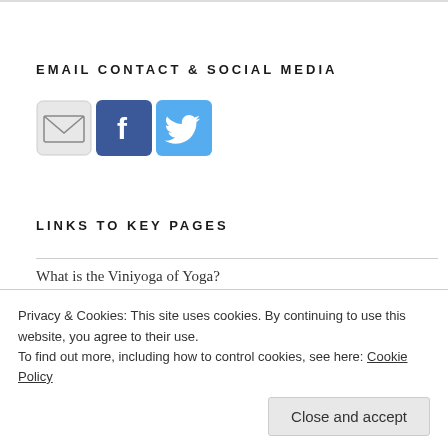EMAIL CONTACT & SOCIAL MEDIA
[Figure (illustration): Three social/contact icons: an email envelope icon (grey), a Facebook icon (blue with white f), and a Twitter icon (light blue with white bird)]
LINKS TO KEY PAGES
What is the Viniyoga of Yoga?
Personalised 121 Yoga Lessons
Privacy & Cookies: This site uses cookies. By continuing to use this website, you agree to their use.
To find out more, including how to control cookies, see here: Cookie Policy